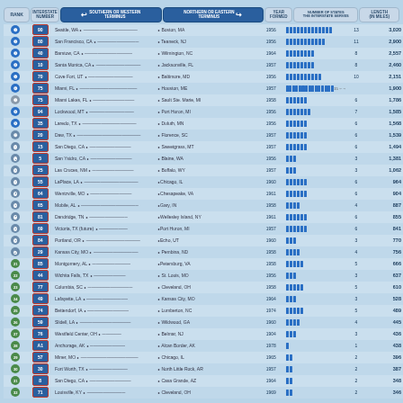| RANK | INTERSTATE NUMBER | SOUTHERN OR WESTERN TERMINUS | NORTHERN OR EASTERN TERMINUS | YEAR FORMED | NUMBER OF STATES THE INTERSTATE SERVES | LENGTH (IN MILES) |
| --- | --- | --- | --- | --- | --- | --- |
| 1 | 90 | Seattle, WA | Boston, MA | 1956 | 13 | 3,020 |
| 2 | 80 | San Francisco, CA | Teaneck, NJ | 1956 | 11 | 2,900 |
| 3 | 40 | Barstow, CA | Wilmington, NC | 1964 | 8 | 2,557 |
| 4 | 10 | Santa Monica, CA | Jacksonville, FL | 1957 | 8 | 2,460 |
| 5 | 70 | Cove Fort, UT | Baltimore, MD | 1956 | 10 | 2,151 |
| 6 | 75 | Miami, FL | Houston, ME | 1957 | 15 | 1,900 |
| 7 | 75 | Miami Lakes, FL | Sault Ste. Marie, MI | 1958 | 6 | 1,786 |
| 8 | 94 | Lockwood, MT | Port Huron, MI | 1956 | 7 | 1,585 |
| 9 | 35 | Laredo, TX | Duluth, MN | 1956 | 6 | 1,568 |
| 10 | 20 | Daw, TX | Florence, SC | 1957 | 6 | 1,539 |
| 11 | 15 | San Diego, CA | Sweetgrass, MT | 1957 | 6 | 1,494 |
| 12 | 5 | San Ysidro, CA | Blaine, WA | 1956 | 3 | 1,381 |
| 13 | 25 | Las Cruces, NM | Buffalo, WY | 1957 | 3 | 1,062 |
| 14 | 55 | LaPlace, LA | Chicago, IL | 1960 | 6 | 964 |
| 15 | 64 | Wentzville, MO | Chesapeake, VA | 1961 | 6 | 904 |
| 16 | 65 | Mobile, AL | Gary, IN | 1958 | 4 | 887 |
| 17 | 81 | Dandridge, TN | Wellesley Island, NY | 1961 | 6 | 855 |
| 18 | 69 | Victoria, TX (future) | Port Huron, MI | 1957 | 6 | 841 |
| 19 | 84 | Portland, OR | Echo, UT | 1960 | 3 | 770 |
| 20 | 29 | Kansas City, MO | Pembina, ND | 1958 | 4 | 756 |
| 21 | 85 | Montgomery, AL | Petersburg, VA | 1958 | 5 | 666 |
| 22 | 44 | Wichita Falls, TX | St. Louis, MO | 1956 | 3 | 637 |
| 23 | 77 | Columbia, SC | Cleveland, OH | 1958 | 5 | 610 |
| 24 | 49 | Lafayette, LA | Kansas City, MO | 1964 | 3 | 528 |
| 25 | 74 | Bettendorf, IA | Lumberton, NC | 1974 | 5 | 489 |
| 26 | 59 | Slidell, LA | Wildwood, GA | 1960 | 4 | 445 |
| 27 | 76 | Westfield Center, OH | Belmar, NJ | 1904 | 3 | 436 |
| 28 | A1 | Anchorage, AK | Alcan Border, AK | 1978 | 1 | 438 |
| 29 | 57 | Miner, MO | Chicago, IL | 1965 | 2 | 396 |
| 30 | 30 | Fort Worth, TX | North Little Rock, AR | 1957 | 2 | 387 |
| 31 | 8 | San Diego, CA | Casa Grande, AZ | 1964 | 2 | 348 |
| 32 | 71 | Louisville, KY | Cleveland, OH | 1969 | 2 | 346 |